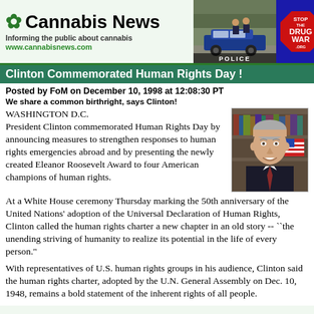Cannabis News — Informing the public about cannabis — www.cannabisnews.com
[Figure (photo): Police officers near a police car]
[Figure (logo): Stop the Drug War .org octagon logo on blue background]
Clinton Commemorated Human Rights Day !
Posted by FoM on December 10, 1998 at 12:08:30 PT
We share a common birthright, says Clinton!
WASHINGTON D.C.
President Clinton commemorated Human Rights Day by announcing measures to strengthen responses to human rights emergencies abroad and by presenting the newly created Eleanor Roosevelt Award to four American champions of human rights.
[Figure (photo): Portrait photo of President Bill Clinton]
At a White House ceremony Thursday marking the 50th anniversary of the United Nations' adoption of the Universal Declaration of Human Rights, Clinton called the human rights charter a new chapter in an old story -- ``the unending striving of humanity to realize its potential in the life of every person."
With representatives of U.S. human rights groups in his audience, Clinton said the human rights charter, adopted by the U.N. General Assembly on Dec. 10, 1948, remains a bold statement of the inherent rights of all people.